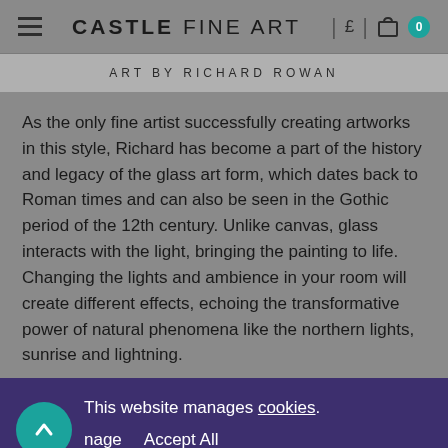CASTLE FINE ART
ART BY RICHARD ROWAN
As the only fine artist successfully creating artworks in this style, Richard has become a part of the history and legacy of the glass art form, which dates back to Roman times and can also be seen in the Gothic period of the 12th century. Unlike canvas, glass interacts with the light, bringing the painting to life. Changing the lights and ambience in your room will create different effects, echoing the transformative power of natural phenomena like the northern lights, sunrise and lightning.
This website manages cookies.
nage   Accept All
photographer and filmmaker, he drove out into the wild